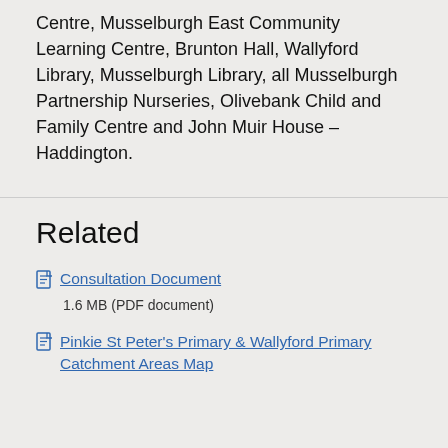Centre, Musselburgh East Community Learning Centre, Brunton Hall, Wallyford Library, Musselburgh Library, all Musselburgh Partnership Nurseries, Olivebank Child and Family Centre and John Muir House – Haddington.
Related
Consultation Document
1.6 MB (PDF document)
Pinkie St Peter's Primary & Wallyford Primary Catchment Areas Map